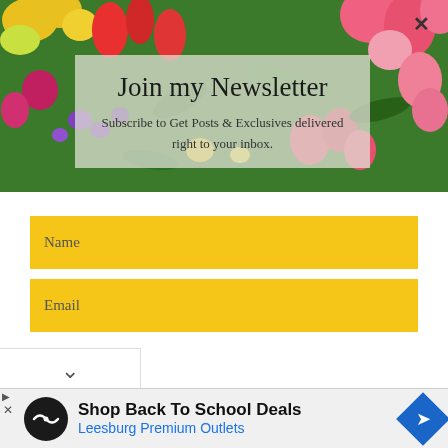[Figure (photo): Background photo of colorful spring flowers including red, pink, yellow tulips and purple flowers with green leaves]
Join my Newsletter
Subscribe to Get Posts & Exclusives delivered right to your inbox.
Name
Email
[Figure (infographic): Advertisement banner: Shop Back To School Deals - Leesburg Premium Outlets, with navigation icon]